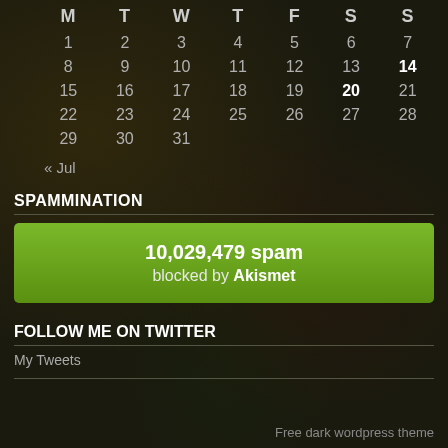| M | T | W | T | F | S | S |
| --- | --- | --- | --- | --- | --- | --- |
| 1 | 2 | 3 | 4 | 5 | 6 | 7 |
| 8 | 9 | 10 | 11 | 12 | 13 | 14 |
| 15 | 16 | 17 | 18 | 19 | 20 | 21 |
| 22 | 23 | 24 | 25 | 26 | 27 | 28 |
| 29 | 30 | 31 |  |  |  |  |
« Jul
SPAMMINATION
[Figure (infographic): Green Akismet spam counter button showing '10,029,479 spam blocked by Akismet']
FOLLOW ME ON TWITTER
My Tweets
Free dark wordpress theme